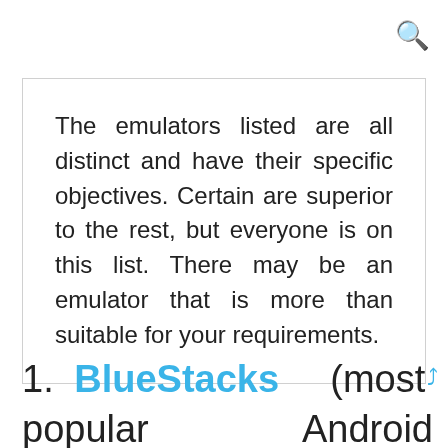🔍
The emulators listed are all distinct and have their specific objectives. Certain are superior to the rest, but everyone is on this list. There may be an emulator that is more than suitable for your requirements.
1. BlueStacks (most popular Android